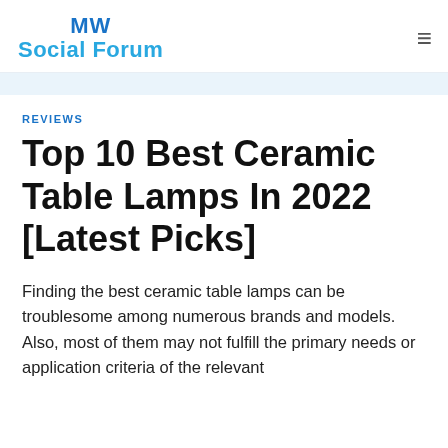MW Social Forum
REVIEWS
Top 10 Best Ceramic Table Lamps In 2022 [Latest Picks]
Finding the best ceramic table lamps can be troublesome among numerous brands and models. Also, most of them may not fulfill the primary needs or application criteria of the relevant